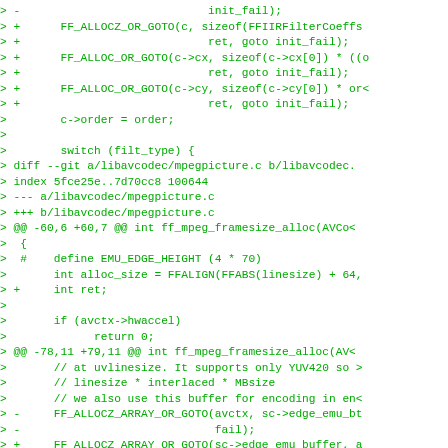Diff/patch code block showing changes to libavcodec files including iir filter and mpegpicture.c